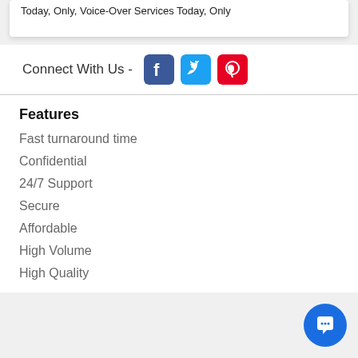Today, Only, Voice-Over Services Today, Only
Connect With Us -
[Figure (logo): Facebook, Twitter, and Pinterest social media icons]
Features
Fast turnaround time
Confidential
24/7 Support
Secure
Affordable
High Volume
High Quality